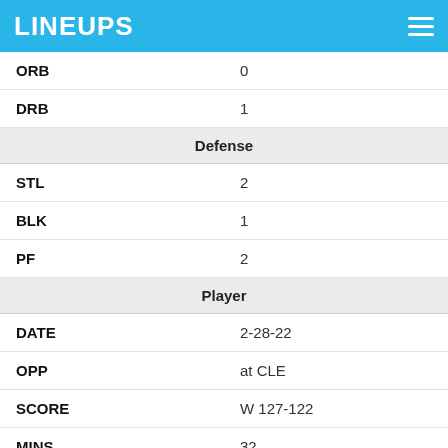LINEUPS
| ORB | 0 |
| DRB | 1 |
| Defense |  |
| STL | 2 |
| BLK | 1 |
| PF | 2 |
| Player |  |
| DATE | 2-28-22 |
| OPP | at CLE |
| SCORE | W 127-122 |
| MINS | 32 |
| Fantasy Points |  |
| FPTS | 35.8 |